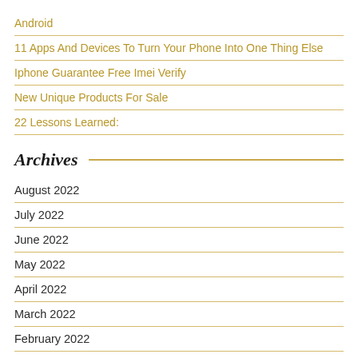Android
11 Apps And Devices To Turn Your Phone Into One Thing Else
Iphone Guarantee Free Imei Verify
New Unique Products For Sale
22 Lessons Learned:
Archives
August 2022
July 2022
June 2022
May 2022
April 2022
March 2022
February 2022
January 2022
December 2021